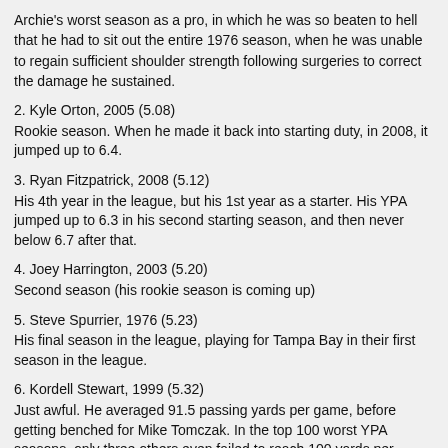Archie's worst season as a pro, in which he was so beaten to hell that he had to sit out the entire 1976 season, when he was unable to regain sufficient shoulder strength following surgeries to correct the damage he sustained.
2. Kyle Orton, 2005 (5.08)
Rookie season. When he made it back into starting duty, in 2008, it jumped up to 6.4.
3. Ryan Fitzpatrick, 2008 (5.12)
His 4th year in the league, but his 1st year as a starter. His YPA jumped up to 6.3 in his second starting season, and then never below 6.7 after that.
4. Joey Harrington, 2003 (5.20)
Second season (his rookie season is coming up)
5. Steve Spurrier, 1976 (5.23)
His final season in the league, playing for Tampa Bay in their first season in the league.
6. Kordell Stewart, 1999 (5.32)
Just awful. He averaged 91.5 passing yards per game, before getting benched for Mike Tomczak. In the top 100 worst YPA seasons, only three others even failed to reach 100 yards per game, and all three of those were in the dead ball 1970s.
2017 Joe Flacco is currently right here (5.34)
7. Joey Harrington, 2002 (5.35)
There's that rookie year. "Joey Heisman" got slightly better after these two